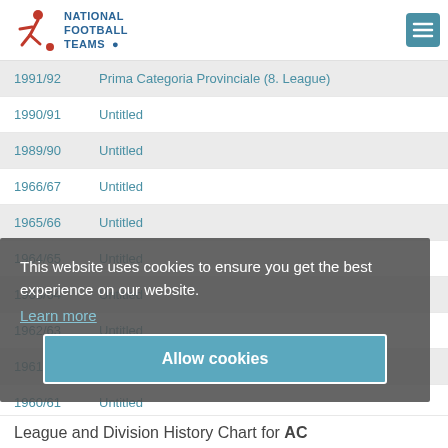National Football Teams
| Year | League |
| --- | --- |
| 1991/92 | Prima Categoria Provinciale (8. League) |
| 1990/91 | Untitled |
| 1989/90 | Untitled |
| 1966/67 | Untitled |
| 1965/66 | Untitled |
| 1964/65 | Untitled |
| 1963/64 | Untitled |
| 1962/63 | Untitled |
| 1961/62 | Untitled |
| 1960/61 | Untitled |
This website uses cookies to ensure you get the best experience on our website. Learn more
Allow cookies
League and Division History Chart for AC